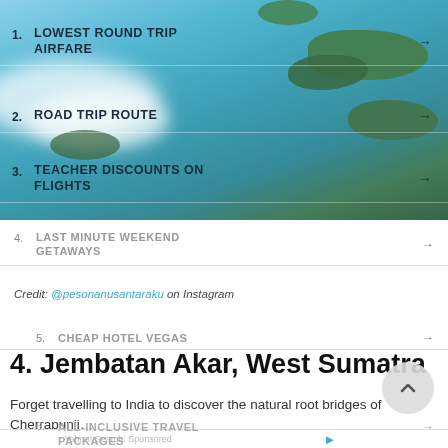[Figure (photo): Aerial view of tropical archipelago with turquoise waters and green islands, used as background image]
1. LOWEST ROUND TRIP AIRFARE →
2. ROAD TRIP ROUTE →
3. TEACHER DISCOUNTS ON FLIGHTS →
4. LAST MINUTE WEEKEND GETAWAYS →
Credit: @pesonanusantaraku on Instagram
5. CHEAP HOTEL VEGAS →
4. Jembatan Akar, West Sumatra
Forget travelling to India to discover the natural root bridges of Cherrapunji…
6. ALL-INCLUSIVE TRAVEL PACKAGES →
Yahoo! Search: Sponsored